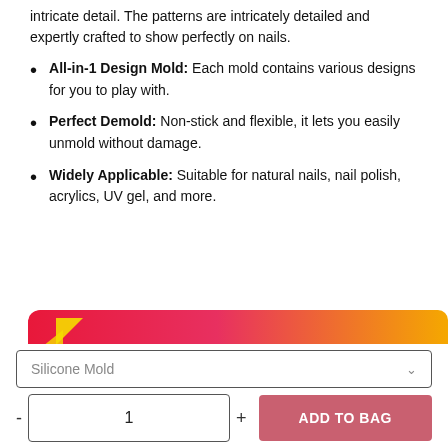intricate detail. The patterns are intricately detailed and expertly crafted to show perfectly on nails.
All-in-1 Design Mold: Each mold contains various designs for you to play with.
Perfect Demold: Non-stick and flexible, it lets you easily unmold without damage.
Widely Applicable: Suitable for natural nails, nail polish, acrylics, UV gel, and more.
[Figure (illustration): Banner with gradient background from red/pink to orange/yellow with triangular confetti shapes and italic script text reading 'How To Apply']
Silicone Mold (dropdown selector)
Quantity: 1, ADD TO BAG button